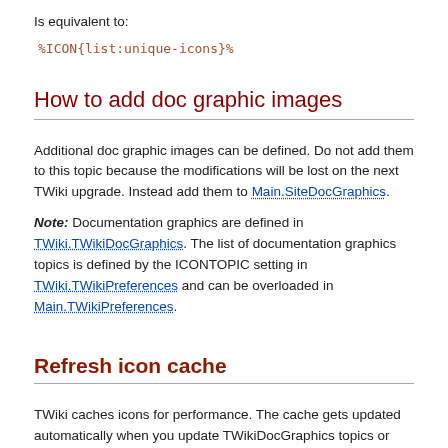Is equivalent to:
%ICON{list:unique-icons}%
How to add doc graphic images
Additional doc graphic images can be defined. Do not add them to this topic because the modifications will be lost on the next TWiki upgrade. Instead add them to Main.SiteDocGraphics.
Note: Documentation graphics are defined in TWiki.TWikiDocGraphics. The list of documentation graphics topics is defined by the ICONTOPIC setting in TWiki.TWikiPreferences and can be overloaded in Main.TWikiPreferences.
Refresh icon cache
TWiki caches icons for performance. The cache gets updated automatically when you update TWikiDocGraphics topics or TWikiPreferences...